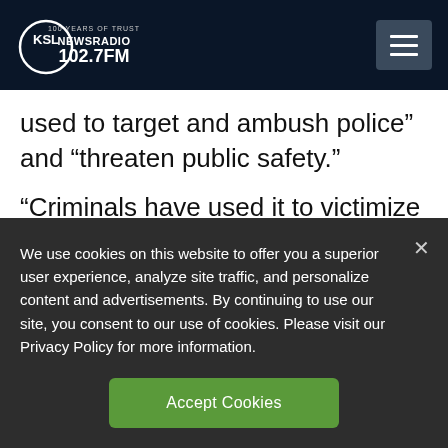KSL NewsRadio 102.7FM — 100 Years of Trust
used to target and ambush police” and “threaten public safety.”
“Criminals have used it to victimize residents in areas where they know there is no law enforcement,” Apple said. “This app violates
We use cookies on this website to offer you a superior user experience, analyze site traffic, and personalize content and advertisements. By continuing to use our site, you consent to our use of cookies. Please visit our Privacy Policy for more information.
Accept Cookies